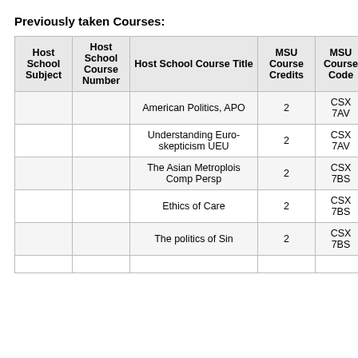Previously taken Courses:
| Host School Subject | Host School Course Number | Host School Course Title | MSU Course Credits | MSU Course Code |
| --- | --- | --- | --- | --- |
|  |  | American Politics, APO | 2 | CSX 7AV |
|  |  | Understanding Euro-skepticism UEU | 2 | CSX 7AV |
|  |  | The Asian Metroplois Comp Persp | 2 | CSX 7BS |
|  |  | Ethics of Care | 2 | CSX 7BS |
|  |  | The politics of Sin | 2 | CSX 7BS |
|  |  |  |  |  |